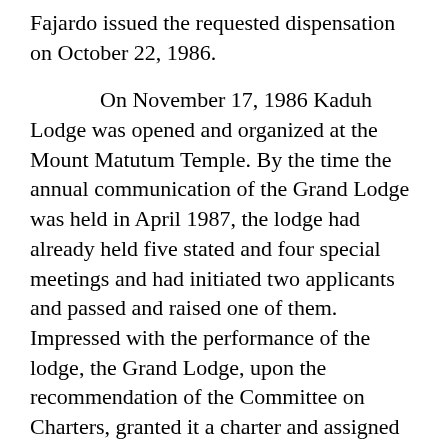Fajardo issued the requested dispensation on October 22, 1986.
On November 17, 1986 Kaduh Lodge was opened and organized at the Mount Matutum Temple. By the time the annual communication of the Grand Lodge was held in April 1987, the lodge had already held five stated and four special meetings and had initiated two applicants and passed and raised one of them. Impressed with the performance of the lodge, the Grand Lodge, upon the recommendation of the Committee on Charters, granted it a charter and assigned to it number 278.
On May 30, 1987, Grand Master Teodorico V. Baldonado flew to General Santos City and constituted Kaduh Lodge as a regular lodge. On that